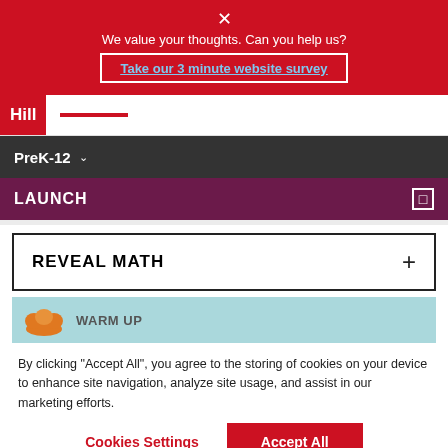✕
We value your thoughts. Can you help us?
Take our 3 minute website survey
[Figure (logo): McGraw Hill logo with 'Hill' text on red background and red underline]
PreK-12
LAUNCH
REVEAL MATH
[Figure (illustration): Partial warm-up section with orange icon on light blue background, text 'Warm Up']
By clicking "Accept All", you agree to the storing of cookies on your device to enhance site navigation, analyze site usage, and assist in our marketing efforts.
Cookies Settings
Accept All